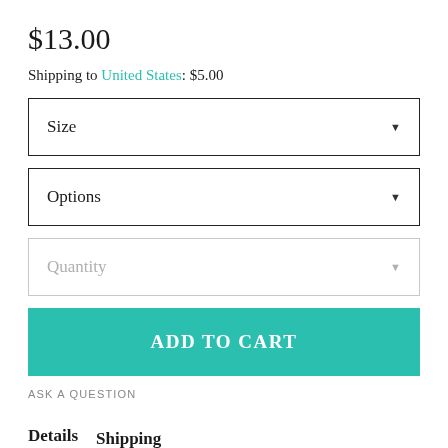$13.00
Shipping to United States: $5.00
[Figure (screenshot): Dropdown selector labeled 'Size' with a downward arrow on the right]
[Figure (screenshot): Dropdown selector labeled 'Options' with a downward arrow on the right]
[Figure (screenshot): Dropdown selector labeled 'Quantity' in muted gray with a muted downward arrow on the right]
[Figure (screenshot): Teal 'ADD TO CART' button]
ASK A QUESTION
Details  Shipping